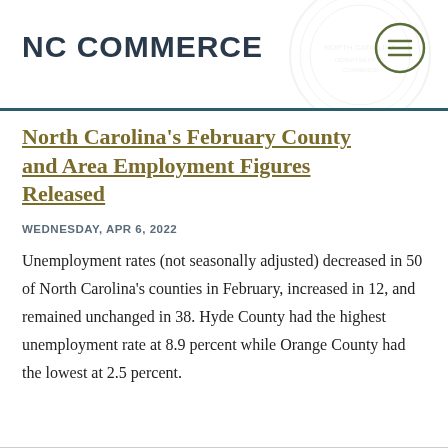NC COMMERCE
North Carolina's February County and Area Employment Figures Released
WEDNESDAY, APR 6, 2022
Unemployment rates (not seasonally adjusted) decreased in 50 of North Carolina's counties in February, increased in 12, and remained unchanged in 38. Hyde County had the highest unemployment rate at 8.9 percent while Orange County had the lowest at 2.5 percent.